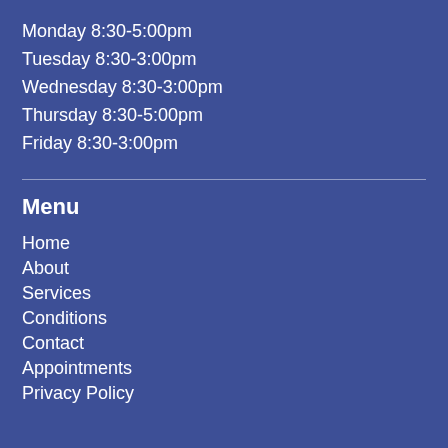Monday 8:30-5:00pm
Tuesday 8:30-3:00pm
Wednesday 8:30-3:00pm
Thursday 8:30-5:00pm
Friday 8:30-3:00pm
Menu
Home
About
Services
Conditions
Contact
Appointments
Privacy Policy